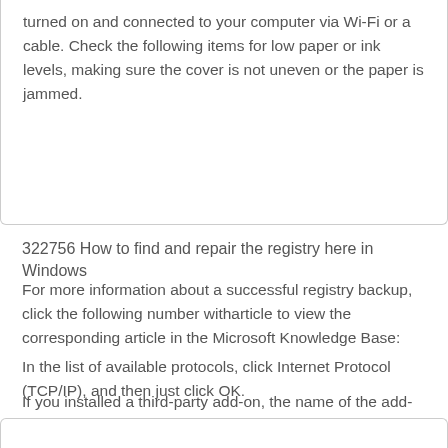turned on and connected to your computer via Wi-Fi or a cable. Check the following items for low paper or ink levels, making sure the cover is not uneven or the paper is jammed.
322756 How to find and repair the registry here in Windows
For more information about a successful registry backup, click the following number witharticle to view the corresponding article in the Microsoft Knowledge Base:
In the list of available protocols, click Internet Protocol (TCP/IP), and then just click OK.
If you installed a third-party add-on, the name of the add-on replaces the letters “MSAFD” at the end of the list.
If there are more than ten sections in the list, users have installed third-party add-ons.